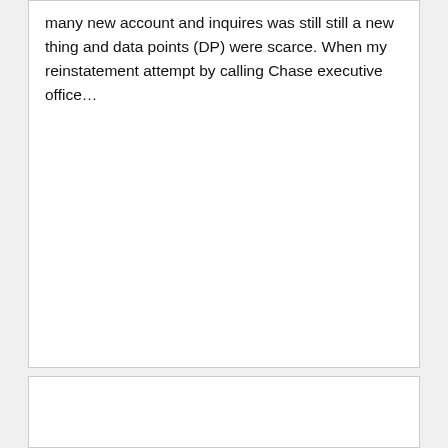many new account and inquires was still still a new thing and data points (DP) were scarce. When my reinstatement attempt by calling Chase executive office…